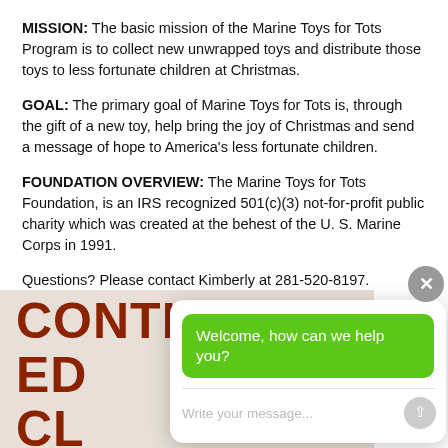MISSION:  The basic mission of the Marine Toys for Tots Program is to collect new unwrapped toys and distribute those toys to less fortunate children at Christmas.
GOAL:  The primary goal of Marine Toys for Tots is, through the gift of a new toy, help bring the joy of Christmas and send a message of hope to America's less fortunate children.
FOUNDATION OVERVIEW:  The Marine Toys for Tots Foundation, is an IRS recognized 501(c)(3) not-for-profit public charity which was created at the behest of the U. S. Marine Corps in 1991.
Questions? Please contact Kimberly at 281-520-8197.
[Figure (photo): Partial banner image with large bold text reading CONTINUING EDUCATION CLASSES ONLINE in dark red/maroon color on a light background]
Welcome, how can we help you?
Write your message...